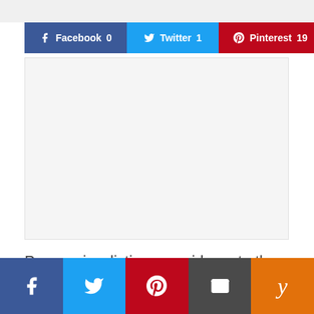[Figure (screenshot): Social share buttons row: Facebook 0, Twitter 1, Pinterest 19, Yummly (partially visible)]
[Figure (photo): Large empty/white content image area with light gray background]
Peer review listings provide up to the day reviews. It is here you can find there is a
[Figure (infographic): Bottom social share icon bar with Facebook, Twitter, Pinterest, Email, and Yummly icons]